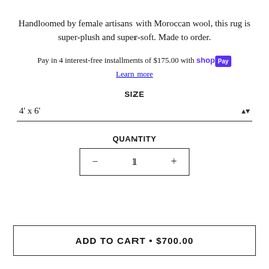Handloomed by female artisans with Moroccan wool, this rug is super-plush and super-soft. Made to order.
Pay in 4 interest-free installments of $175.00 with shop Pay
Learn more
SIZE
4' x 6'
QUANTITY
- 1 +
ADD TO CART • $700.00